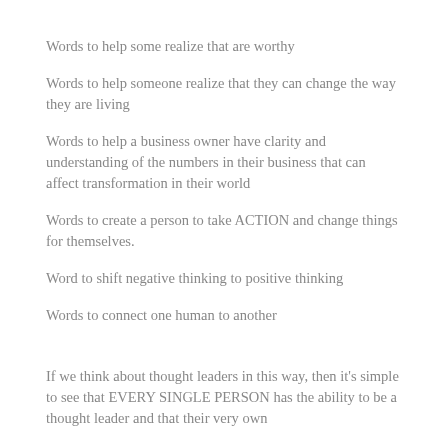Words to help some realize that are worthy
Words to help someone realize that they can change the way they are living
Words to help a business owner have clarity and understanding of the numbers in their business that can affect transformation in their world
Words to create a person to take ACTION and change things for themselves.
Word to shift negative thinking to positive thinking
Words to connect one human to another
If we think about thought leaders in this way, then it's simple to see that EVERY SINGLE PERSON has the ability to be a thought leader and that their very own...